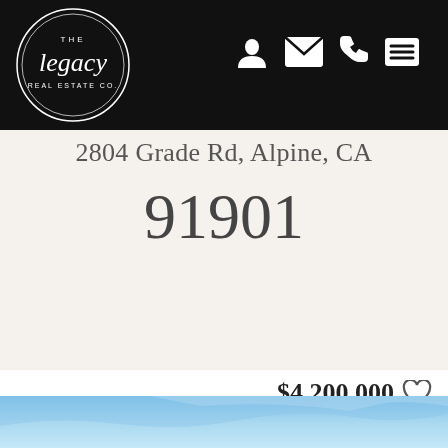[Figure (logo): The Legacy Real Estate Co. circular logo in white on black background]
Navigation icons: user, mail, phone, menu
2804 Grade Rd, Alpine, CA 91901
$4,200,000
2804 Grade Rd, Alpine, CA 91901
Bedrooms: Bathrooms: Area: SqFt.
[Figure (photo): Blue sky photo strip at bottom of page]